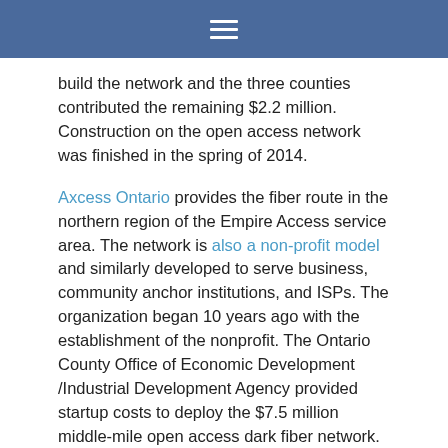☰
build the network and the three counties contributed the remaining $2.2 million. Construction on the open access network was finished in the spring of 2014.
Axcess Ontario provides the fiber route in the northern region of the Empire Access service area. The network is also a non-profit model and similarly developed to serve business, community anchor institutions, and ISPs. The organization began 10 years ago with the establishment of the nonprofit. The Ontario County Office of Economic Development /Industrial Development Agency provided startup costs to deploy the $7.5 million middle-mile open access dark fiber network. Axcess Ontario is also over 200 miles long.
For now, the locally-owned company that began in 1896 with one telephone and grew from there, is